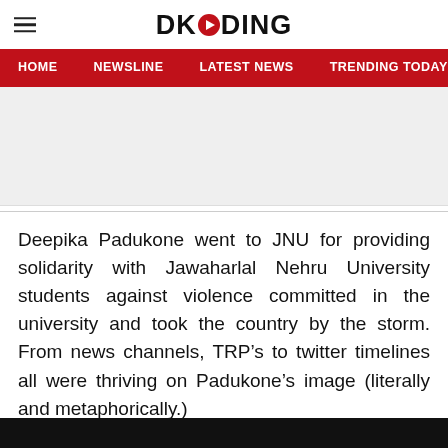DKODING
HOME  NEWSLINE  LATEST NEWS  TRENDING TODAY  ENT
[Figure (other): Advertisement banner placeholder (gray rectangle)]
Deepika Padukone went to JNU for providing solidarity with Jawaharlal Nehru University students against violence committed in the university and took the country by the storm. From news channels, TRP’s to twitter timelines all were thriving on Padukone’s image (literally and metaphorically.)